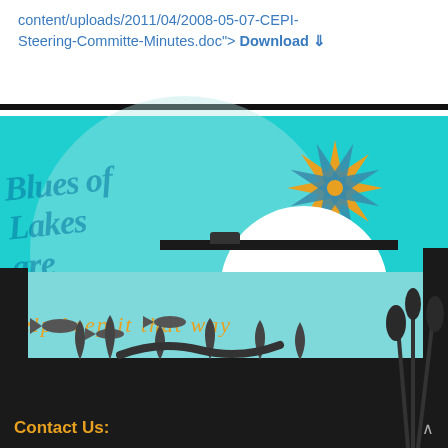content/uploads/2011/04/2008-05-07-CEPI-Steering-Committe-Minutes.doc"> Download ⇓
[Figure (illustration): Environmental campaign illustration with teal background, decorative star/sun icon in orange and blue, cursive italic text 'Blues of the Lakes are golden' in blue watermark and orange scripts, subtitle 'help keep it that way' in orange italic text, dark silhouette shoreline at bottom with fish and aquatic plants, white moon circle at right, light blue water band.]
Contact Us: